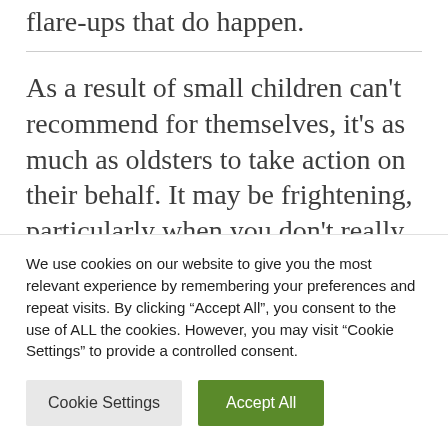flare-ups that do happen.
As a result of small children can't recommend for themselves, it's as much as oldsters to take action on their behalf. It may be frightening, particularly when you don't really feel well-versed in scientific jargon,
We use cookies on our website to give you the most relevant experience by remembering your preferences and repeat visits. By clicking "Accept All", you consent to the use of ALL the cookies. However, you may visit "Cookie Settings" to provide a controlled consent.